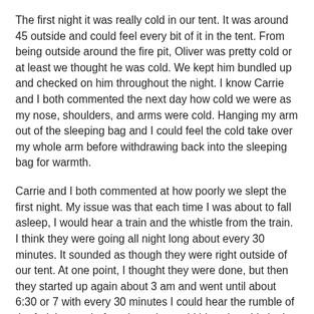The first night it was really cold in our tent. It was around 45 outside and could feel every bit of it in the tent. From being outside around the fire pit, Oliver was pretty cold or at least we thought he was cold. We kept him bundled up and checked on him throughout the night. I know Carrie and I both commented the next day how cold we were as my nose, shoulders, and arms were cold. Hanging my arm out of the sleeping bag and I could feel the cold take over my whole arm before withdrawing back into the sleeping bag for warmth.
Carrie and I both commented at how poorly we slept the first night. My issue was that each time I was about to fall asleep, I would hear a train and the whistle from the train. I think they were going all night long about every 30 minutes. It sounded as though they were right outside of our tent. At one point, I thought they were done, but then they started up again about 3 am and went until about 6:30 or 7 with every 30 minutes I could hear the rumble of the freight cars before the train would blow the whistle. It was a bit frustrating, but learned something that first night that Carrie had prepared for as she knew I would likely be snoring without my CPAP.